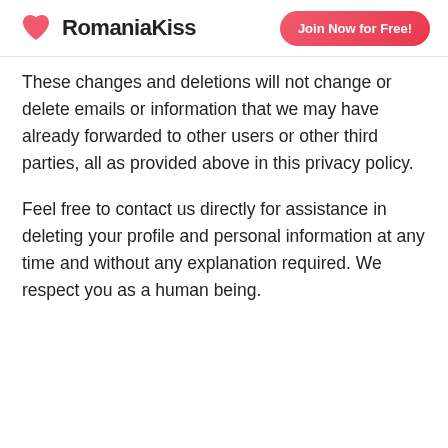RomaniaKiss | Join Now for Free!
These changes and deletions will not change or delete emails or information that we may have already forwarded to other users or other third parties, all as provided above in this privacy policy.
Feel free to contact us directly for assistance in deleting your profile and personal information at any time and without any explanation required. We respect you as a human being.